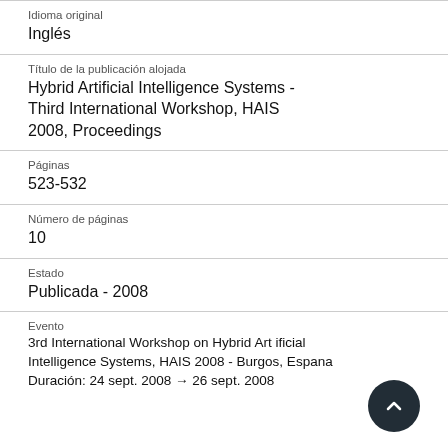Idioma original
Inglés
Título de la publicación alojada
Hybrid Artificial Intelligence Systems - Third International Workshop, HAIS 2008, Proceedings
Páginas
523-532
Número de páginas
10
Estado
Publicada - 2008
Evento
3rd International Workshop on Hybrid Artificial Intelligence Systems, HAIS 2008 - Burgos, Espana
Duración: 24 sept. 2008 → 26 sept. 2008